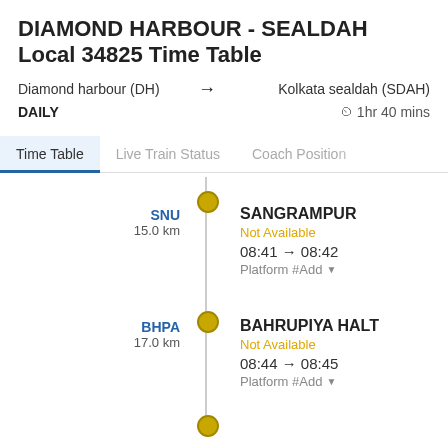DIAMOND HARBOUR - SEALDAH Local 34825 Time Table
Diamond harbour (DH) → Kolkata sealdah (SDAH)
DAILY   ⏱ 1hr 40 mins
Time Table | Live Train Status | Coach Position
SNU 15.0 km | SANGRAMPUR | Not Available | 08:41 → 08:42 | Platform #Add
BHPA 17.0 km | BAHRUPIYA HALT | Not Available | 08:44 → 08:45 | Platform #Add